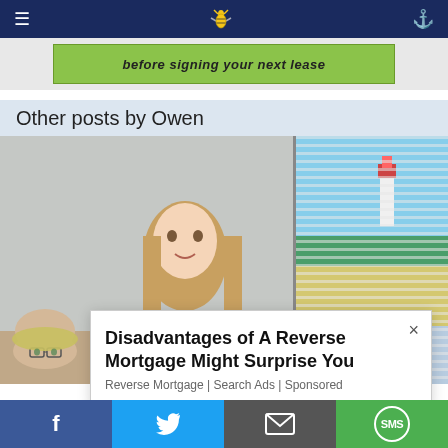Navigation bar with menu, logo, and search icons
[Figure (photo): Green ad banner reading 'before signing your next lease']
Other posts by Owen
[Figure (photo): Young blonde woman smiling at camera, seated at a desk; second image shows an older woman with glasses; right side shows coastal artwork with blinds]
[Figure (infographic): Popup ad: 'Disadvantages of A Reverse Mortgage Might Surprise You' — Reverse Mortgage | Search Ads | Sponsored]
Social share bar: Facebook, Twitter, Email, SMS